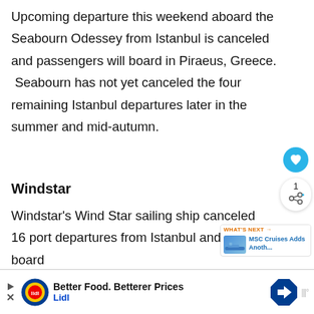Upcoming departure this weekend aboard the Seabourn Odessey from Istanbul is canceled and passengers will board in Piraeus, Greece. Seabourn has not yet canceled the four remaining Istanbul departures later in the summer and mid-autumn.
Windstar
Windstar's Wind Star sailing ship canceled 16 port departures from Istanbul and will board